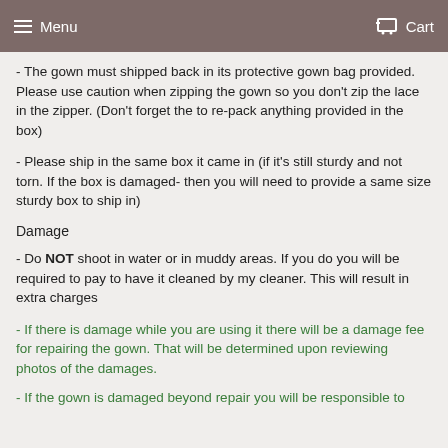Menu   Cart
- The gown must shipped back in its protective gown bag provided. Please use caution when zipping the gown so you don't zip the lace in the zipper. (Don't forget the to re-pack anything provided in the box)
- Please ship in the same box it came in (if it's still sturdy and not torn. If the box is damaged- then you will need to provide a same size sturdy box to ship in)
Damage
- Do NOT shoot in water or in muddy areas. If you do you will be required to pay to have it cleaned by my cleaner. This will result in extra charges
- If there is damage while you are using it there will be a damage fee for repairing the gown. That will be determined upon reviewing photos of the damages.
- If the gown is damaged beyond repair you will be responsible to